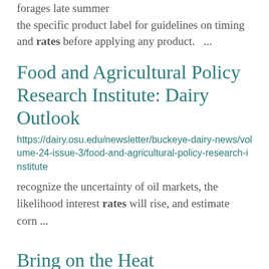forages late summer the specific product label for guidelines on timing and rates before applying any product.  ...
Food and Agricultural Policy Research Institute: Dairy Outlook
https://dairy.osu.edu/newsletter/buckeye-dairy-news/volume-24-issue-3/food-and-agricultural-policy-research-institute
recognize the uncertainty of oil markets, the likelihood interest rates will rise, and estimate corn ...
Bring on the Heat
https://dairy.osu.edu/newsletter/buckeye-dairy-